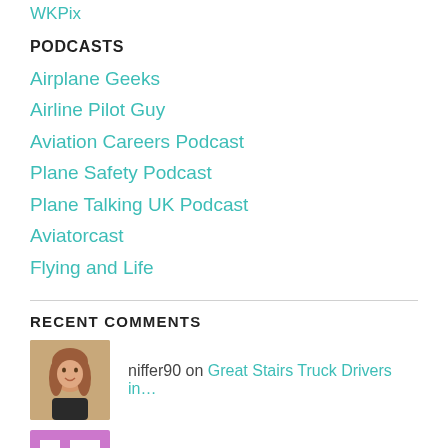WKPix
PODCASTS
Airplane Geeks
Airline Pilot Guy
Aviation Careers Podcast
Plane Safety Podcast
Plane Talking UK Podcast
Aviatorcast
Flying and Life
RECENT COMMENTS
niffer90 on Great Stairs Truck Drivers in…
nlpnt on Great Stairs Truck Drivers in…